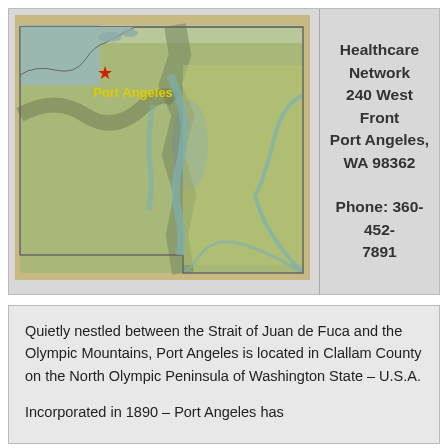[Figure (map): Relief map of Washington State with a red star marker and yellow 'Port Angeles' label in the northwest corner of the state]
Healthcare Network
240 West Front
Port Angeles, WA 98362

Phone: 360-452-7891
Quietly nestled between the Strait of Juan de Fuca and the Olympic Mountains, Port Angeles is located in Clallam County on the North Olympic Peninsula of Washington State – U.S.A.
Incorporated in 1890 – Port Angeles has